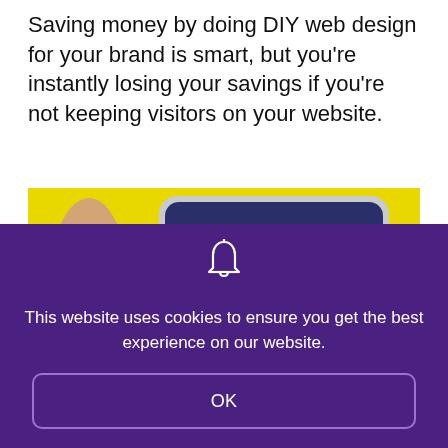Saving money by doing DIY web design for your brand is smart, but you're instantly losing your savings if you're not keeping visitors on your website.
[Figure (photo): A hand holding a smartphone displaying social media app icons including Facebook, Snapchat, Instagram, and Twitter on a yellow background.]
This website uses cookies to ensure you get the best experience on our website.
OK